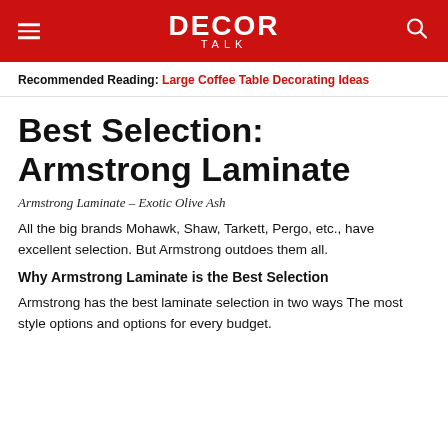DECOR TALK
Recommended Reading: Large Coffee Table Decorating Ideas
Best Selection: Armstrong Laminate
Armstrong Laminate – Exotic Olive Ash
All the big brands Mohawk, Shaw, Tarkett, Pergo, etc., have excellent selection. But Armstrong outdoes them all.
Why Armstrong Laminate is the Best Selection
Armstrong has the best laminate selection in two ways The most style options and options for every budget.